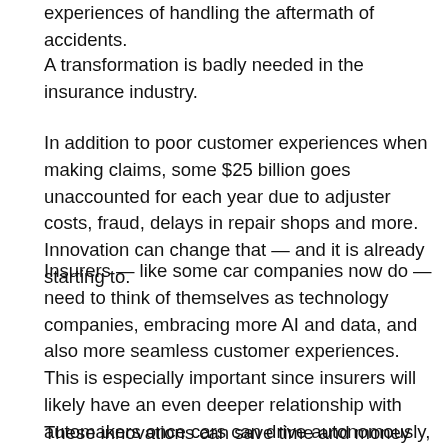experiences of handling the aftermath of accidents.
A transformation is badly needed in the insurance industry.
In addition to poor customer experiences when making claims, some $25 billion goes unaccounted for each year due to adjuster costs, fraud, delays in repair shops and more. Innovation can change that — and it is already starting to.
Insurers — like some car companies now do — need to think of themselves as technology companies, embracing more AI and data, and also more seamless customer experiences. This is especially important since insurers will likely have an even deeper relationship with automakers once cars can drive autonomously, at which point the auto company takes responsibility if there is an accident.
These innovations can save time and money while improving